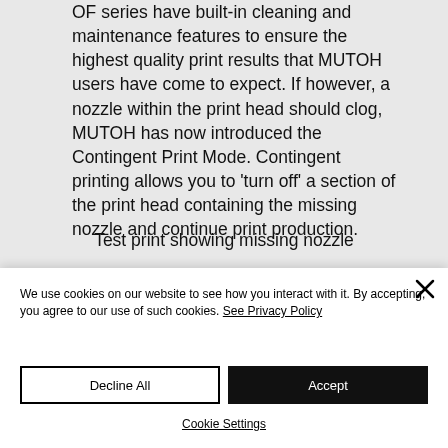OF series have built-in cleaning and maintenance features to ensure the highest quality print results that MUTOH users have come to expect. If however, a nozzle within the print head should clog, MUTOH has now introduced the Contingent Print Mode. Contingent printing allows you to 'turn off' a section of the print head containing the missing nozzle and continue print production.
Test print showing missing nozzle
We use cookies on our website to see how you interact with it. By accepting, you agree to our use of such cookies. See Privacy Policy
Decline All
Accept
Cookie Settings